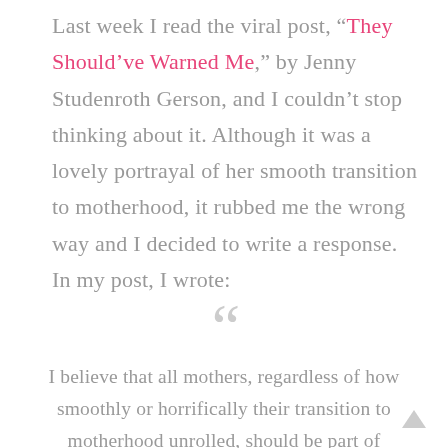Last week I read the viral post, “They Should’ve Warned Me,” by Jenny Studenroth Gerson, and I couldn’t stop thinking about it. Although it was a lovely portrayal of her smooth transition to motherhood, it rubbed me the wrong way and I decided to write a response. In my post, I wrote:
““ I believe that all mothers, regardless of how smoothly or horrifically their transition to motherhood unrolled, should be part of changing the cultural dialogue about new motherhood. It is so beautiful, powerful, important, magical, of course it is. But it can b